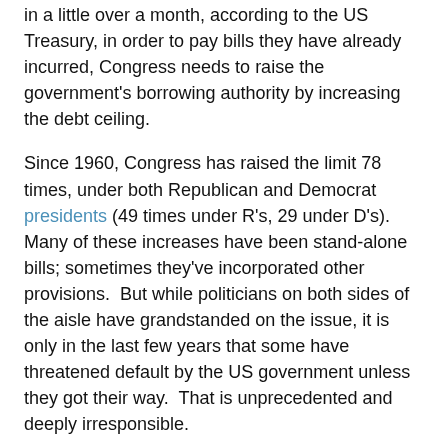in a little over a month, according to the US Treasury, in order to pay bills they have already incurred, Congress needs to raise the government's borrowing authority by increasing the debt ceiling.
Since 1960, Congress has raised the limit 78 times, under both Republican and Democrat presidents (49 times under R's, 29 under D's). Many of these increases have been stand-alone bills; sometimes they've incorporated other provisions. But while politicians on both sides of the aisle have grandstanded on the issue, it is only in the last few years that some have threatened default by the US government unless they got their way. That is unprecedented and deeply irresponsible.
Nor is it the case, as Speaker John Boehner alleged today, that “for decades, the White House and Congress have used the debt limit to find bipartisan solutions on the deficit and debt.”
First off, the logic of his argument is mind-boggling. If that’s what past Congresses have done, then clearly they’ve failed or we wouldn’t be in this mess.
Second, his list of examples to make his case starts in 1985 and he references five debt limit bills wherein there have been notable reforms to reduce the debt. Yet, there’s been 34 bills raising the